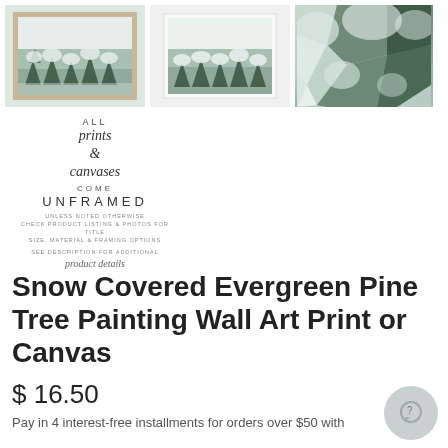[Figure (photo): Three product images of Snow Covered Evergreen Pine Tree Painting Wall Art Print or Canvas. Left image shows artwork in a wooden frame, center shows artwork in a white frame, right shows a close-up detail of the painting.]
[Figure (illustration): Promotional graphic with cursive and sans-serif text reading ALL prints & canvases COME UNFRAMED with small subtext and product details link.]
Snow Covered Evergreen Pine Tree Painting Wall Art Print or Canvas
$ 16.50
Pay in 4 interest-free installments for orders over $50 with